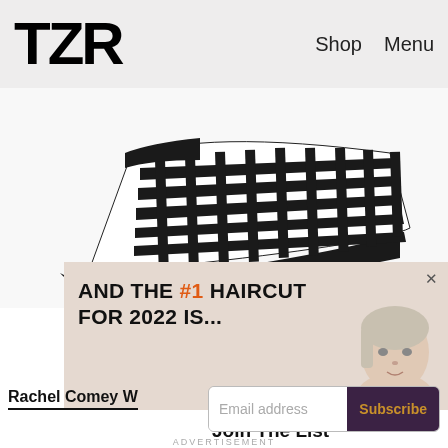TZR  Shop  Menu
[Figure (photo): Black and white woven leather wedge mule shoe photographed against white background]
[Figure (infographic): Ad overlay with beige background reading: AND THE #1 HAIRCUT FOR 2022 IS... with a headshot of a blonde woman and a close button X]
Join The List
Sign up for TZR's exclusive email list to uncover this season's top trends
Rachel Comey W
Email address  Subscribe
ADVERTISEMENT